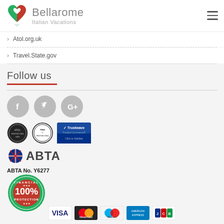Bellarome Italian Vacations
Atol.org.uk
Travel.State.gov
Follow us
[Figure (logo): Facebook, Twitter, Google+ social media circle icons in grey]
[Figure (logo): Three trust badge logos: circular stamp, TRAV protected badge, Trustwave Trusted Commerce badge]
[Figure (logo): ABTA logo with Union Jack flag icon]
ABTA No. Y6277
[Figure (logo): Financial 100% Protection circular badge in green and red]
[Figure (logo): Payment logos: VISA, MasterCard, Maestro, American Express, JCB]